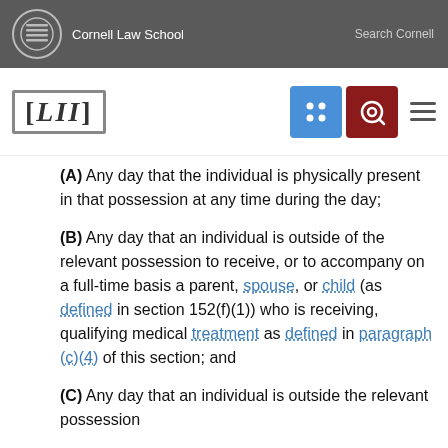Cornell Law School | Search Cornell
[LII]
(A) Any day that the individual is physically present in that possession at any time during the day;
(B) Any day that an individual is outside of the relevant possession to receive, or to accompany on a full-time basis a parent, spouse, or child (as defined in section 152(f)(1)) who is receiving, qualifying medical treatment as defined in paragraph (c)(4) of this section; and
(C) Any day that an individual is outside the relevant possession